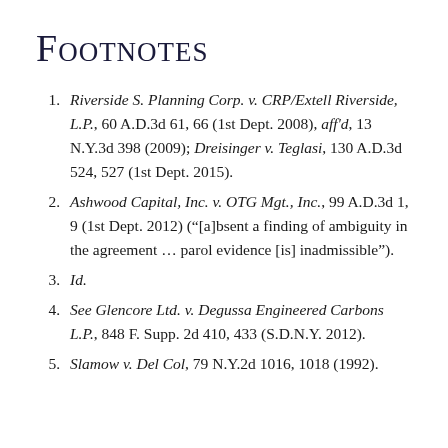Footnotes
Riverside S. Planning Corp. v. CRP/Extell Riverside, L.P., 60 A.D.3d 61, 66 (1st Dept. 2008), aff'd, 13 N.Y.3d 398 (2009); Dreisinger v. Teglasi, 130 A.D.3d 524, 527 (1st Dept. 2015).
Ashwood Capital, Inc. v. OTG Mgt., Inc., 99 A.D.3d 1, 9 (1st Dept. 2012) (“[a]bsent a finding of ambiguity in the agreement … parol evidence [is] inadmissible”).
Id.
See Glencore Ltd. v. Degussa Engineered Carbons L.P., 848 F. Supp. 2d 410, 433 (S.D.N.Y. 2012).
Slamow v. Del Col, 79 N.Y.2d 1016, 1018 (1992).